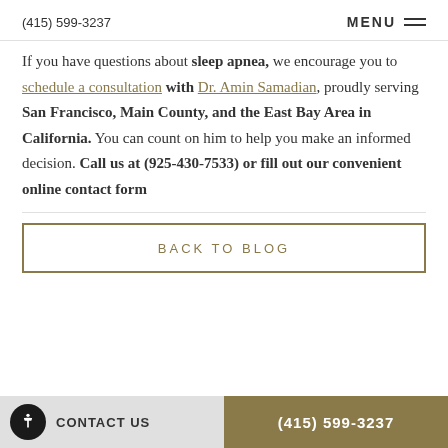(415) 599-3237   MENU
If you have questions about sleep apnea, we encourage you to schedule a consultation with Dr. Amin Samadian, proudly serving San Francisco, Main County, and the East Bay Area in California. You can count on him to help you make an informed decision. Call us at (925-430-7533) or fill out our convenient online contact form
BACK TO BLOG
CONTACT US   (415) 599-3237